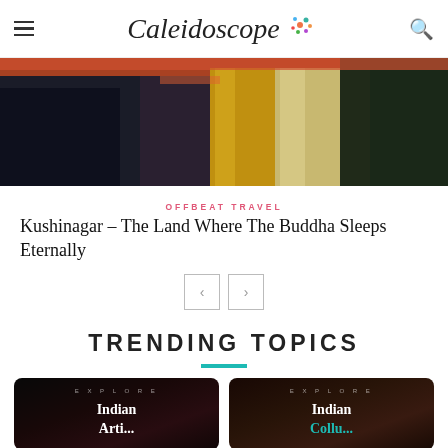Caleidoscope
[Figure (photo): Dark photo showing colorful fabrics/offerings including orange, gold, and cream colored cloth, possibly at a temple or market]
OFFBEAT TRAVEL
Kushinagar – The Land Where The Buddha Sleeps Eternally
TRENDING TOPICS
[Figure (photo): Dark card with text: EXPLORE Indian Arti... (Indian Artists topic card)]
[Figure (photo): Dark brown card with text: EXPLORE Indian Coll... (Indian Culture/Collections topic card)]